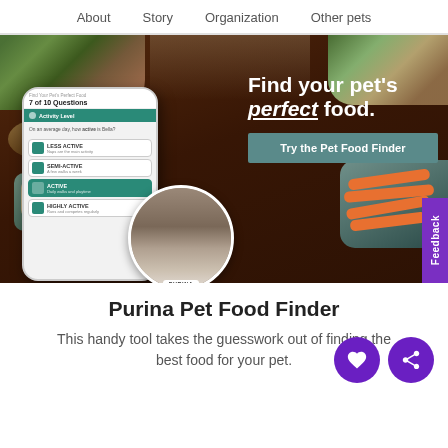About | Story | Organization | Other pets
[Figure (screenshot): Hero banner showing Purina Pet Food Finder app interface with a smartphone mockup displaying activity level quiz questions, a dog eating from a Purina bowl in a circular photo, food ingredients on a dark wood background, and text 'Find your pet's perfect food.' with a 'Try the Pet Food Finder' button]
Purina Pet Food Finder
This handy tool takes the guesswork out of finding the best food for your pet.